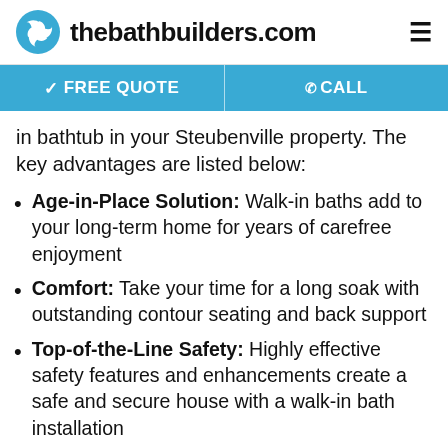thebathbuilders.com
✓ FREE QUOTE   @CALL
in bathtub in your Steubenville property. The key advantages are listed below:
Age-in-Place Solution: Walk-in baths add to your long-term home for years of carefree enjoyment
Comfort: Take your time for a long soak with outstanding contour seating and back support
Top-of-the-Line Safety: Highly effective safety features and enhancements create a safe and secure house with a walk-in bath installation